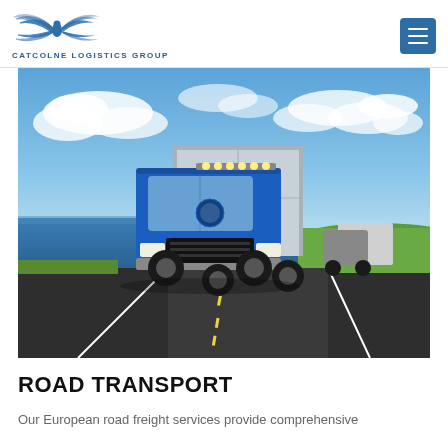[Figure (logo): Catcolne Logistics Group logo with wing emblem above company name]
[Figure (photo): A blue semi-truck driving on a road near a body of water under a partly cloudy sky, with another truck in the background]
ROAD TRANSPORT
Our European road freight services provide comprehensive